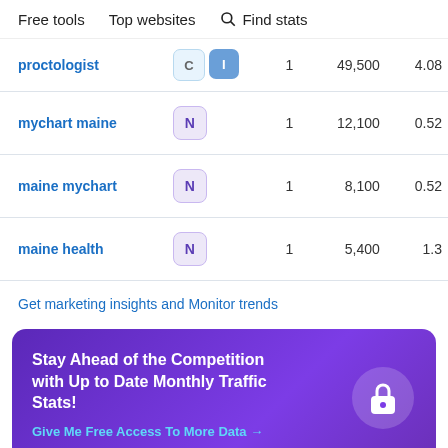Free tools   Top websites   🔍 Find stats
| Keyword | Type | Pos | Volume | CPC |
| --- | --- | --- | --- | --- |
| proctologist | C I | 1 | 49,500 | 4.08 |
| mychart maine | N | 1 | 12,100 | 0.52 |
| maine mychart | N | 1 | 8,100 | 0.52 |
| maine health | N | 1 | 5,400 | 1.3 |
Get marketing insights and Monitor trends
[Figure (infographic): Purple CTA card: Stay Ahead of the Competition with Up to Date Monthly Traffic Stats! Give Me Free Access To More Data →]